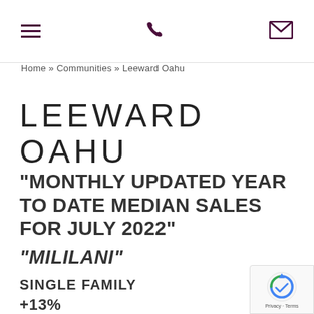[hamburger menu icon] [phone icon] [mail icon]
Home » Communities » Leeward Oahu
LEEWARD OAHU
"MONTHLY UPDATED YEAR TO DATE MEDIAN SALES FOR JULY 2022"
"MILILANI"
SINGLE FAMILY
+13%